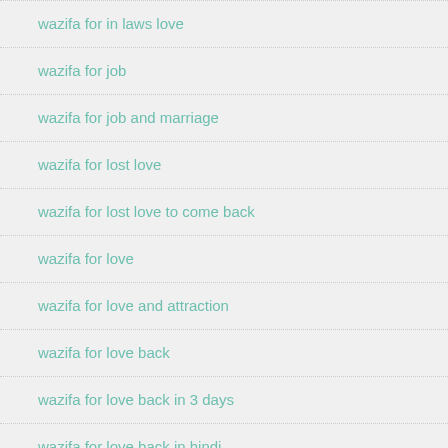wazifa for in laws love
wazifa for job
wazifa for job and marriage
wazifa for lost love
wazifa for lost love to come back
wazifa for love
wazifa for love and attraction
wazifa for love back
wazifa for love back in 3 days
wazifa for love back in hindi
Click to Consult on Whatsapp